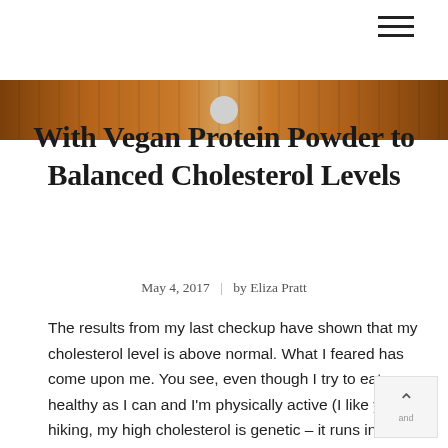[Figure (photo): Close-up photo of a wooden surface or plank, warm brown tones, with a small circular metallic element at the top center]
With Vegan Protein Powder to Balanced Cholesterol Levels
May 4, 2017  |  by Eliza Pratt
The results from my last checkup have shown that my cholesterol level is above normal. What I feared has come upon me. You see, even though I try to eat as healthy as I can and I'm physically active (I like yoga and hiking, my high cholesterol is genetic – it runs in the family.